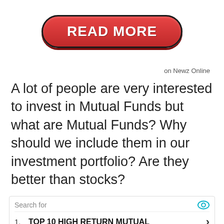[Figure (other): Red READ MORE button with rounded rectangle shape and dark border]
on Newz Online
A lot of people are very interested to invest in Mutual Funds but what are Mutual Funds? Why should we include them in our investment portfolio? Are they better than stocks?
Search for
1. TOP 10 HIGH RETURN MUTUAL
2. TOP 5 MUTUAL FUNDS
Yahoo! Search | Sponsored